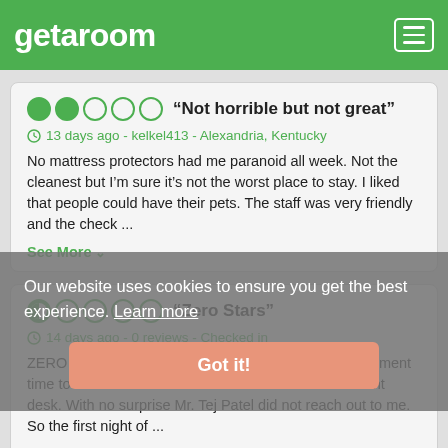getaroom
“Not horrible but not great”
13 days ago - kelkel413 - Alexandria, Kentucky
No mattress protectors had me paranoid all week. Not the cleanest but I’m sure it’s not the worst place to stay. I liked that people could have their pets. The staff was very friendly and the check ...
See More
“Zero Stars”
14 days ago - 0 reviews - Checked in
ZERO STARS... I was trying to give the owner/management time to contact me with the concerns that I left with front desk. With no surprise Mr. Tej Patel did not reach out to me. So the first night of ...
See More
Our website uses cookies to ensure you get the best experience. Learn more Got it!